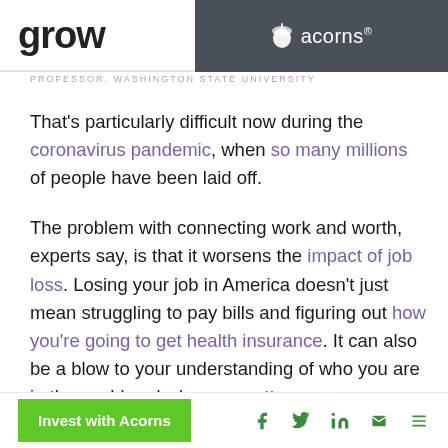grow | acorns®
PROFESSOR, WASHINGTON STATE UNIVERSITY
That's particularly difficult now during the coronavirus pandemic, when so many millions of people have been laid off.

The problem with connecting work and worth, experts say, is that it worsens the impact of job loss. Losing your job in America doesn't just mean struggling to pay bills and figuring out how you're going to get health insurance. It can also be a blow to your understanding of who you are in the world and why you matter.
Invest with Acorns